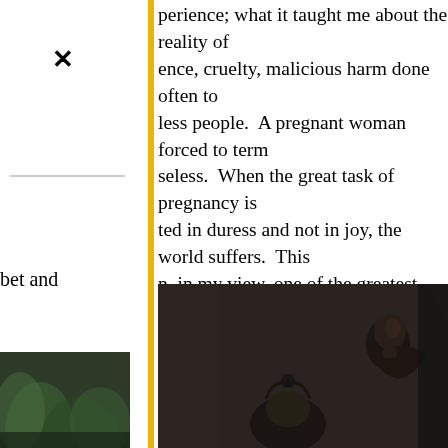perience; what it taught me about the reality of ence, cruelty, malicious harm done often to less people.  A pregnant woman forced to term seless.  When the great task of pregnancy is ted in duress and not in joy, the world suffers.  This n, in my view, one of the greatest causes of iness on the planet, a planet being controlled and aged mostly by men (and their female lices) who, for whatever reason, are not recognized pped early enough to prevent their gargantuan humanity and the Earth.
membered this as seventeen, but I was nineteen, and tation this became clearer to me: also clearer and he faces of my friends, Carole and Brooke, white and ho saved my life. /\. Bowing.
[Figure (photo): Black and white photograph of a woman seated, shown from the side in a dark, ornate setting.]